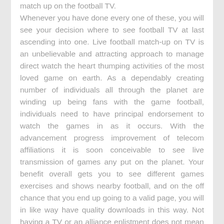match up on the football TV. Whenever you have done every one of these, you will see your decision where to see football TV at last ascending into one. Live football match-up on TV is an unbelievable and attracting approach to manage direct watch the heart thumping activities of the most loved game on earth. As a dependably creating number of individuals all through the planet are winding up being fans with the game football, individuals need to have principal endorsement to watch the games in as it occurs. With the advancement progress improvement of telecom affiliations it is soon conceivable to see live transmission of games any put on the planet. Your benefit overall gets you to see different games exercises and shows nearby football, and on the off chance that you end up going to a valid page, you will in like way have quality downloads in this way. Not having a TV or an alliance enlistment does not mean the fulfillment of everything. With a TV, you can watch your shows online without contributing on another stuff.